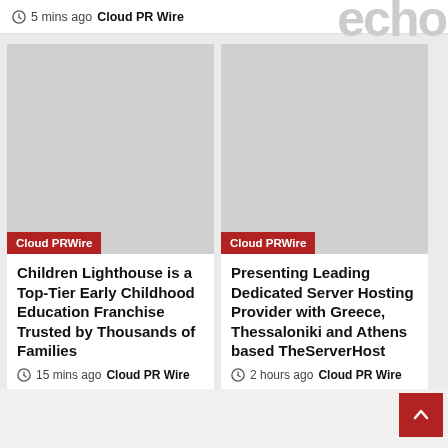5 mins ago  Cloud PR Wire
[Figure (illustration): Grey placeholder image for article thumbnail with red 'Cloud PRWire' label at bottom left]
[Figure (illustration): Grey placeholder image for article thumbnail with red 'Cloud PRWire' label at bottom left]
Children Lighthouse is a Top-Tier Early Childhood Education Franchise Trusted by Thousands of Families
15 mins ago  Cloud PR Wire
Presenting Leading Dedicated Server Hosting Provider with Greece, Thessaloniki and Athens based TheServerHost
2 hours ago  Cloud PR Wire